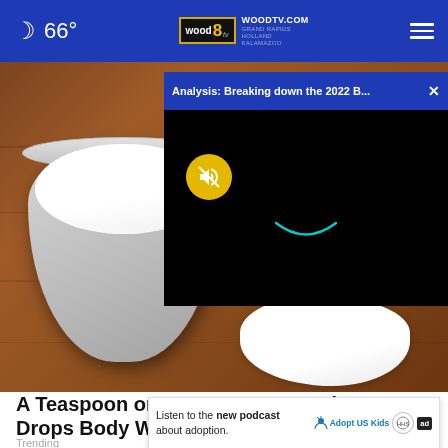66° WOODTV.COM GRAND RAPIDS HOLLAND KALAMAZOO
[Figure (screenshot): Video overlay showing 'Analysis: Breaking down the 2022 B...' with a mute button on black background]
[Figure (photo): A white plastic container filled with white powder (possibly sugar or salt substitute) on a wooden surface, with some powder spilled nearby]
A Teaspoon on an Empty Stomach Drops Body Weight Like Crazy!
Trending
Listen to the new podcast about adoption.